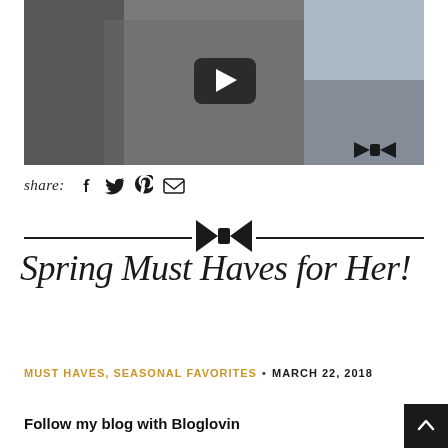[Figure (screenshot): Video thumbnail showing a woman holding a clear plastic container near a clothing rack, with a city skyline visible in the background. A YouTube play button overlay is shown in the center. A bow tie icon is in the bottom right corner.]
share: f ♥ P ✉
[Figure (illustration): Decorative divider with horizontal lines on each side and a bow tie icon in the center]
Spring Must Haves for Her!
MUST HAVES, SEASONAL FAVORITES • MARCH 22, 2018
Follow my blog with Bloglovin